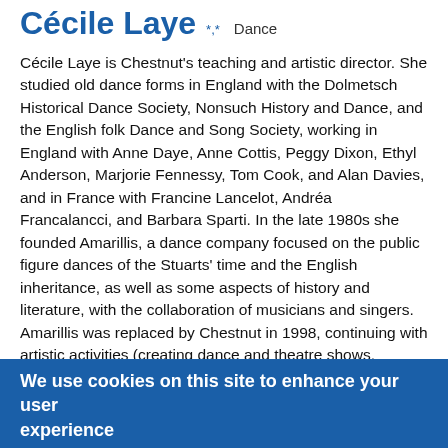Cécile Laye *** Dance
Cécile Laye is Chestnut's teaching and artistic director. She studied old dance forms in England with the Dolmetsch Historical Dance Society, Nonsuch History and Dance, and the English folk Dance and Song Society, working in England with Anne Daye, Anne Cottis, Peggy Dixon, Ethyl Anderson, Marjorie Fennessy, Tom Cook, and Alan Davies, and in France with Francine Lancelot, Andréa Francalancci, and Barbara Sparti. In the late 1980s she founded Amarillis, a dance company focused on the public figure dances of the Stuarts' time and the English inheritance, as well as some aspects of history and literature, with the collaboration of musicians and singers. Amarillis was replaced by Chestnut in 1998, continuing with artistic activities (creating dance and theatre shows, including Balls), teaching (preparing dancers for Balls through a rich program of workshops and classes) and publication ones (CDs, dance descriptions, articles on
We use cookies on this site to enhance your user experience